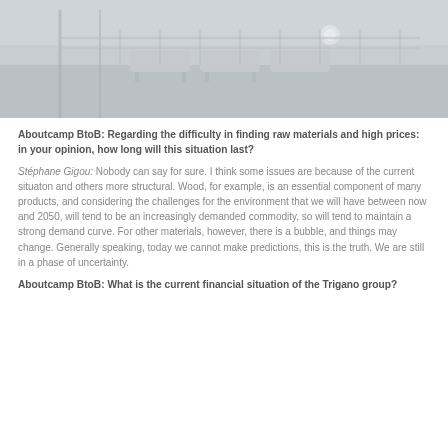[Figure (photo): Interior photo of a camper or leisure vehicle showing a deck/terrace area with lounge chairs, railing, and light fixtures, in muted grey tones]
Aboutcamp BtoB: Regarding the difficulty in finding raw materials and high prices: in your opinion, how long will this situation last?
Stéphane Gigou: Nobody can say for sure. I think some issues are because of the current situaton and others more structural. Wood, for example, is an essential component of many products, and considering the challenges for the environment that we will have between now and 2050, will tend to be an increasingly demanded commodity, so will tend to maintain a strong demand curve. For other materials, however, there is a bubble, and things may change. Generally speaking, today we cannot make predictions, this is the truth. We are still in a phase of uncertainty.
Aboutcamp BtoB: What is the current financial situation of the Trigano group?